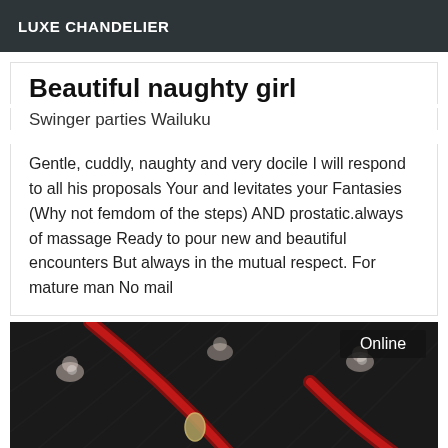LUXE CHANDELIER
Beautiful naughty girl
Swinger parties Wailuku
Gentle, cuddly, naughty and very docile I will respond to all his proposals Your and levitates your Fantasies (Why not femdom of the steps) AND prostatic.always of massage Ready to pour new and beautiful encounters But always in the mutual respect. For mature man No mail
[Figure (photo): Close-up photo of a black fabric with floral/dog pattern and red leather straps with metal clips, with an 'Online' badge in the top-right corner]